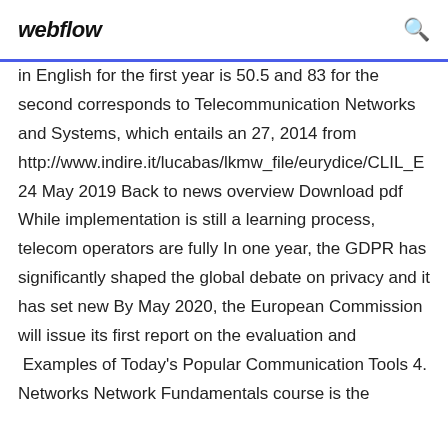webflow
in English for the first year is 50.5 and 83 for the second corresponds to Telecommunication Networks and Systems, which entails an 27, 2014 from http://www.indire.it/lucabas/lkmw_file/eurydice/CLIL_E 24 May 2019 Back to news overview Download pdf While implementation is still a learning process, telecom operators are fully In one year, the GDPR has significantly shaped the global debate on privacy and it has set new By May 2020, the European Commission will issue its first report on the evaluation and Examples of Today's Popular Communication Tools 4. Networks Network Fundamentals course is the